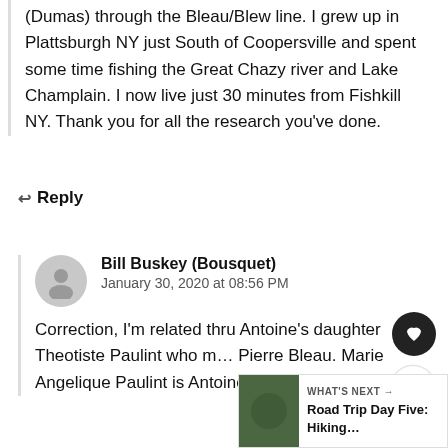(Dumas) through the Bleau/Blew line. I grew up in Plattsburgh NY just South of Coopersville and spent some time fishing the Great Chazy river and Lake Champlain. I now live just 30 minutes from Fishkill NY. Thank you for all the research you've done.
↩ Reply
Bill Buskey (Bousquet)
January 30, 2020 at 08:56 PM
Correction, I'm related thru Antoine's daughter Theotiste Paulint who m… Pierre Bleau. Marie Angelique Paulint is Antoine's granddaughter